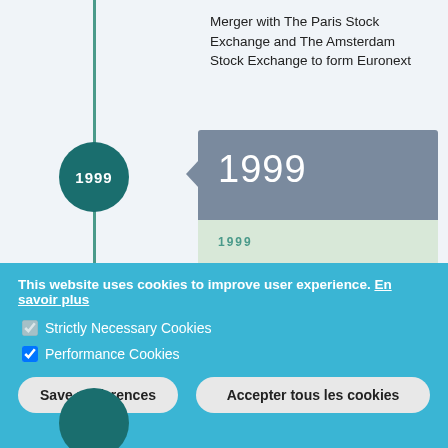Merger with The Paris Stock Exchange and The Amsterdam Stock Exchange to form Euronext
[Figure (infographic): Timeline entry for 1999 with dark teal circle label, slate blue header card showing '1999', and light green content card with year label and merger description.]
1999
Merger of the Brussels Stock Exchange, Belfox and CIK to form BXS (Brussels Exchanges)
This website uses cookies to improve user experience. En savoir plus
Strictly Necessary Cookies
Performance Cookies
Save preferences
Accepter tous les cookies